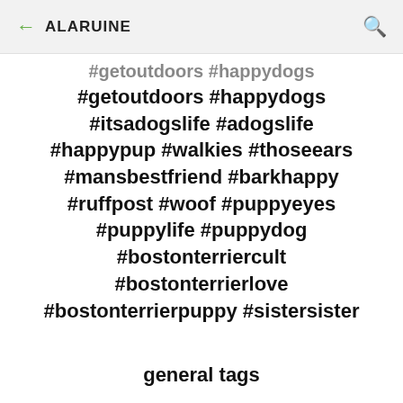← ALARUINE 🔍
#getoutdoors #happydogs #itsadogslife #adogslife #happypup #walkies #thoseears #mansbestfriend #barkhappy #ruffpost #woof #puppyeyes #puppylife #puppydog #bostonterriercult #bostonterrierlove #bostonterrierpuppy #sistersister
general tags